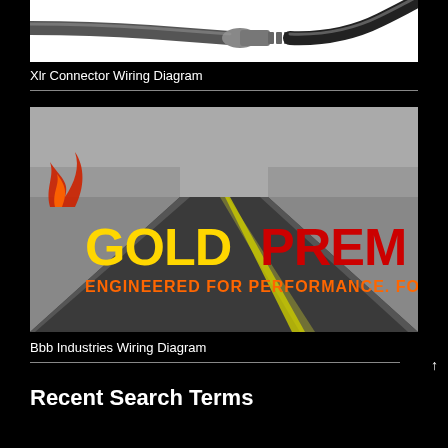[Figure (photo): XLR connector cable on white background showing black cable with metallic connector]
Xlr Connector Wiring Diagram
[Figure (photo): Gold Premium brand advertisement showing a road stretching into the distance with text GOLDPREM and ENGINEERED FOR PERFORMANCE. FORGE...]
Bbb Industries Wiring Diagram
Recent Search Terms